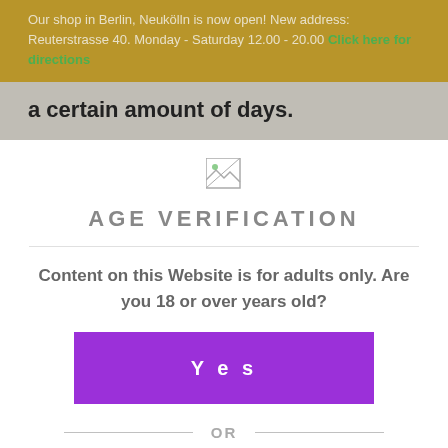Our shop in Berlin, Neukölln is now open! New address: Reuterstrasse 40. Monday - Saturday 12.00 - 20.00 Click here for directions
a certain amount of days.
[Figure (other): Broken image placeholder icon]
AGE VERIFICATION
Content on this Website is for adults only. Are you 18 or over years old?
Yes
OR
No